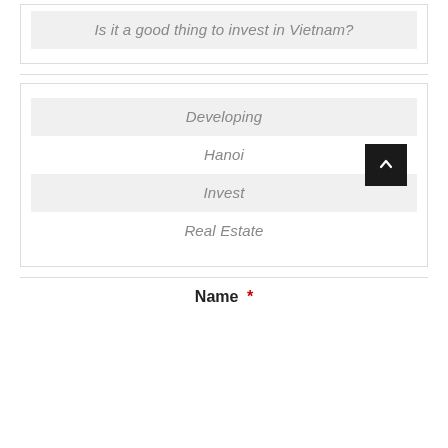Is it a good thing to invest in Vietnam?
Developing
Hanoi
Invest
Real Estate
Name *